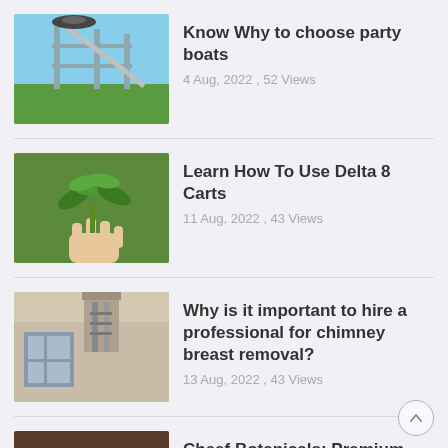Know Why to choose party boats
4 Aug, 2022 ,  52 Views
Learn How To Use Delta 8 Carts
11 Aug, 2022 ,  43 Views
Why is it important to hire a professional for chimney breast removal?
13 Aug, 2022 ,  43 Views
Cheef Botanicals: Premium Quality CBD THC Edibles for Sale
10 Aug, 2022 ,  40 Views